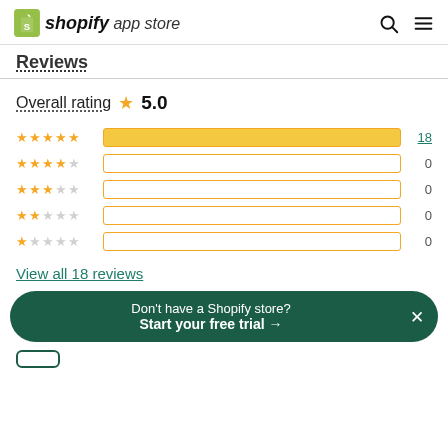shopify app store
Reviews
Overall rating ★ 5.0
[Figure (bar-chart): Star rating distribution]
View all 18 reviews
Don't have a Shopify store? Start your free trial →